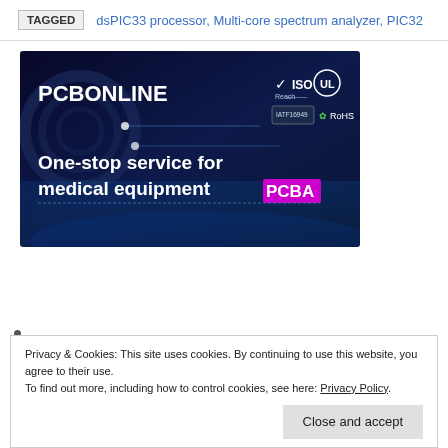TAGGED   dsPIC33 processor, Multi-core spectrum analyzer, PIC32
[Figure (illustration): PCBONLINE advertisement banner with dark blue background showing certification logos (Reach, ISO, UL, RoHS) and text 'One-stop service for medical equipment PCBA']
Privacy & Cookies: This site uses cookies. By continuing to use this website, you agree to their use.
To find out more, including how to control cookies, see here: Privacy Policy
Close and accept